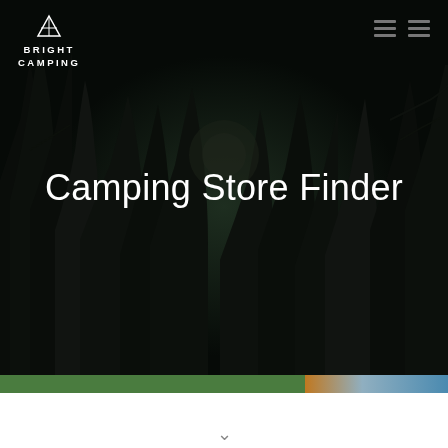[Figure (screenshot): Dark night forest scene with tree silhouettes as hero background image]
BRIGHT CAMPING
Camping Store Finder